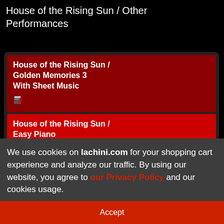House of the Rising Sun / Other Performances
House of the Rising Sun / Golden Memories 3 With Sheet Music
House of the Rising Sun / Easy Piano With Sheet Music
House of the Rising Sun / Piano Sheet Music
2014-02-04 14:16:43
We use cookies on lachini.com for your shopping cart experience and analyze our traffic. By using our website, you agree to our Privacy Policy and our cookies usage.
Accept